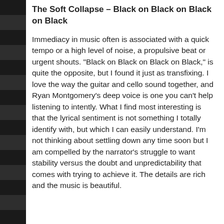The Soft Collapse – Black on Black on Black on Black
Immediacy in music often is associated with a quick tempo or a high level of noise, a propulsive beat or urgent shouts. "Black on Black on Black on Black," is quite the opposite, but I found it just as transfixing. I love the way the guitar and cello sound together, and Ryan Montgomery's deep voice is one you can't help listening to intently. What I find most interesting is that the lyrical sentiment is not something I totally identify with, but which I can easily understand. I'm not thinking about settling down any time soon but I am compelled by the narrator's struggle to want stability versus the doubt and unpredictability that comes with trying to achieve it. The details are rich and the music is beautiful.